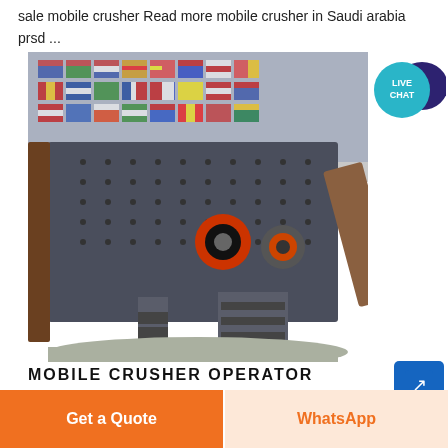sale mobile crusher Read more mobile crusher in Saudi arabia prsd ...
[Figure (photo): Industrial vibrating screen / mobile crusher equipment photographed indoors with international country flags hanging in the background. The machine is large, dark grey, with mechanical components visible including motors and support structures. Gravel/aggregate material is visible beneath the machine.]
[Figure (infographic): Live Chat speech bubble icon — teal/cyan circular badge with white text 'LIVE CHAT' and a dark speech bubble icon to the right.]
MOBILE CRUSHER OPERATOR
Get a Quote
WhatsApp